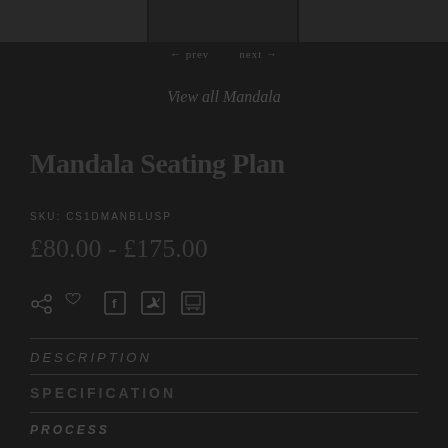[Figure (photo): Dark product/mandala image strip at top of page]
View all Mandala
Mandala Seating Plan
SKU: CS1DMANBLUSP
£80.00 - £175.00
[Figure (infographic): Social share icons row: share, email/heart, facebook, twitter, print/bookmark]
DESCRIPTION
SPECIFICATION
PROCESS